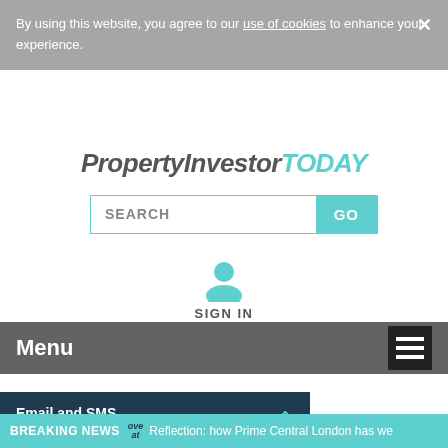By using this website, you agree to our use of cookies to enhance your experience.
[Figure (logo): PropertyInvestorTODAY logo text in serif italic font, with TODAY in teal color]
[Figure (screenshot): Search bar with SEARCH placeholder text and teal GO button]
[Figure (screenshot): Teal user/person icon with SIGN IN label below]
Menu
[Figure (screenshot): Email and SMS LEAD NURTURE dark navy banner with teal chevron up]
BREAKING NEWS   Reflection: how Prime Central London has we